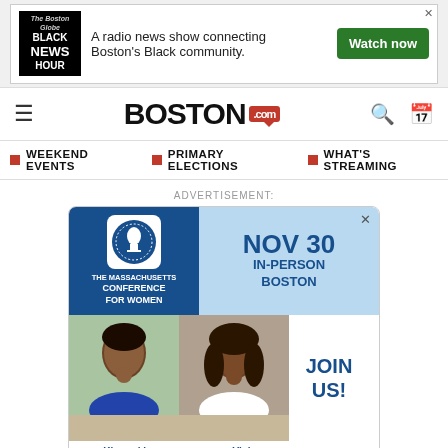[Figure (screenshot): Top banner ad for Black News Hour: 'A radio news show connecting Boston's Black community.' with Watch now button]
[Figure (logo): BOSTON.com logo with red speech bubble and .com label]
WEEKEND EVENTS · PRIMARY ELECTIONS · WHAT'S STREAMING
ADVERTISEMENT:
[Figure (screenshot): Massachusetts Conference for Women ad. NOV 30 IN-PERSON BOSTON. Photos of Kizzmekia Corbett and Viola Davis. JOIN US!]